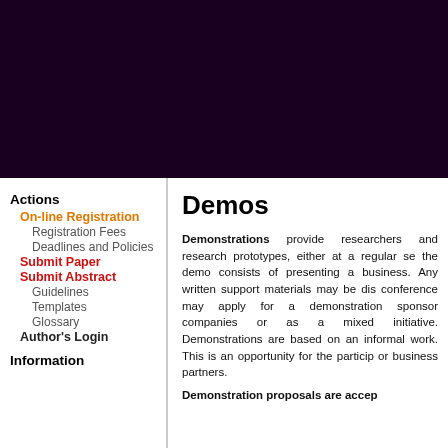[Figure (other): Dark purple/maroon header banner background]
Actions
On-line Registration
Registration Fees
Deadlines and Policies
Submit Paper
Submit Abstract
Guidelines
Templates
Glossary
Author's Login
Information
Demos
Demonstrations provide researchers and... research prototypes, either at a regular se... the demo consists of presenting a business... Any written support materials may be dis... conference may apply for a demonstration... sponsor companies or as a mixed initiative... Demonstrations are based on an informal... work. This is an opportunity for the particip... or business partners.
Demonstration proposals are accep...